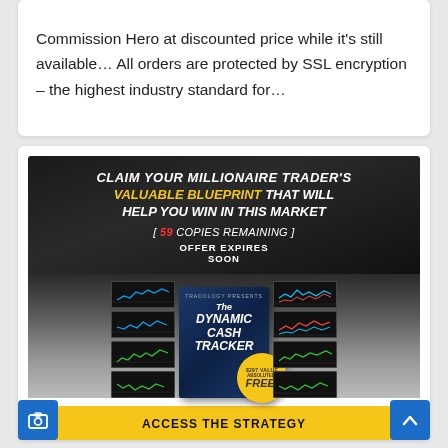Commission Hero at discounted price while it's still available… All orders are protected by SSL encryption – the highest industry standard for…
[Figure (infographic): Dark-background promotional ad banner for 'The Dynamic Cash Tracker' trading product. Headline: 'CLAIM YOUR MILLIONAIRE TRADER'S VALUABLE BLUEPRINT THAT WILL HELP YOU WIN IN THIS MARKET'. Shows '[ 59 COPIES REMAINING ]' in red/white italic text, 'OFFER EXPIRES SOON' text, a center book image flanked by trading chart panels, a yellow 'ABSOLUTELY FREE!' badge, and a yellow 'ACCESS THE STRATEGY' CTA button.]